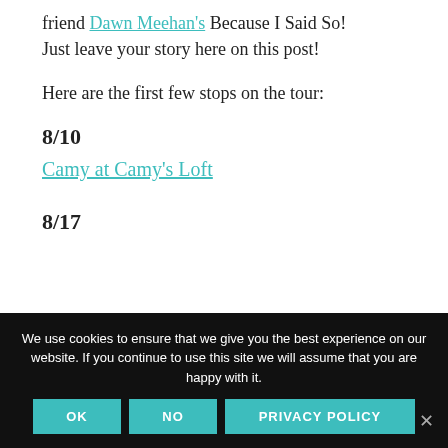friend Dawn Meehan's Because I Said So! Just leave your story here on this post!
Here are the first few stops on the tour:
8/10
Camy at Camy's Loft
8/17
We use cookies to ensure that we give you the best experience on our website. If you continue to use this site we will assume that you are happy with it.